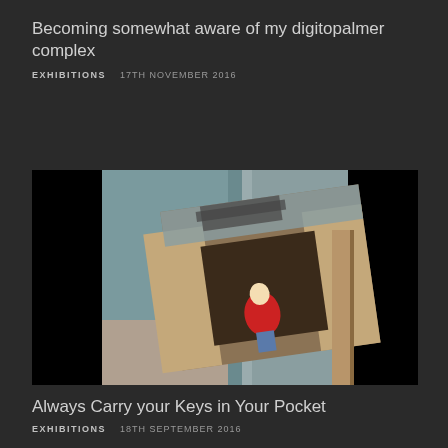Becoming somewhat aware of my digitopalmer complex
EXHIBITIONS    17TH NOVEMBER 2016
[Figure (photo): Composite photo showing a gallery interior with grey walls and flooring, overlaid with an excavation pit image showing a person in a red shirt standing in a hole with sandy/dirt walls]
Always Carry your Keys in Your Pocket
EXHIBITIONS    18TH SEPTEMBER 2016